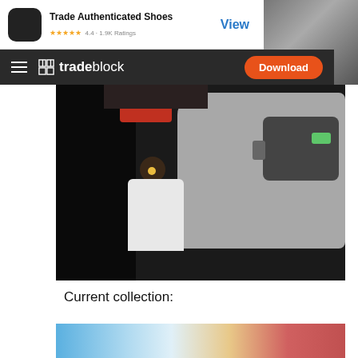[Figure (screenshot): App Store ad banner for Trade Authenticated Shoes with icon, rating 4.4 · 1.9K Ratings and View button]
[Figure (screenshot): Tradeblock website navigation bar with hamburger menu, tradeblock logo, and orange Download button]
[Figure (photo): Dark nighttime street photo showing a person in white jacket between cars, with tail lights visible]
Current collection:
[Figure (photo): Partial photo showing blue light and colorful shelves/display area]